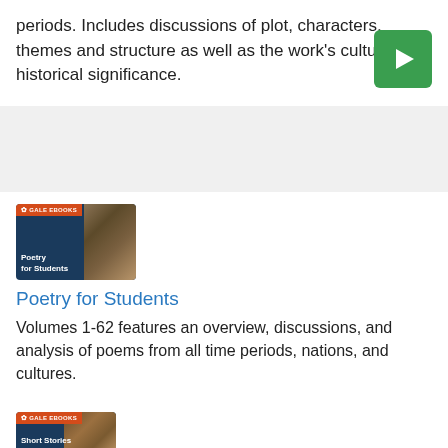periods. Includes discussions of plot, characters, themes and structure as well as the work's cultural and historical significance.
[Figure (other): Green play button icon (triangle on green square background)]
[Figure (illustration): Gale eBooks thumbnail for Poetry for Students showing stacked books on dark blue background with orange Gale eBooks badge]
Poetry for Students
Volumes 1-62 features an overview, discussions, and analysis of poems from all time periods, nations, and cultures.
[Figure (illustration): Gale eBooks thumbnail for Short Stories showing books on dark background with orange Gale eBooks badge]